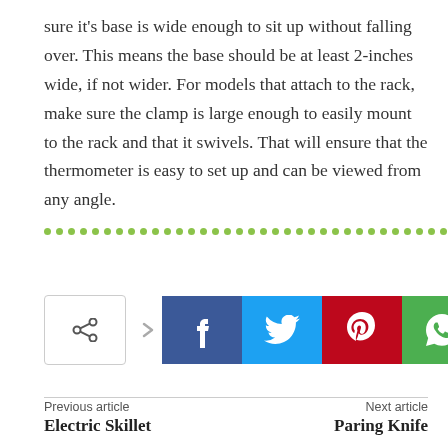sure it's base is wide enough to sit up without falling over. This means the base should be at least 2-inches wide, if not wider. For models that attach to the rack, make sure the clamp is large enough to easily mount to the rack and that it swivels. That will ensure that the thermometer is easy to set up and can be viewed from any angle.
[Figure (other): Dotted green divider line made of small circles]
[Figure (other): Social share buttons: share icon outline button, Facebook, Twitter, Pinterest, WhatsApp]
Previous article
Electric Skillet
Next article
Paring Knife